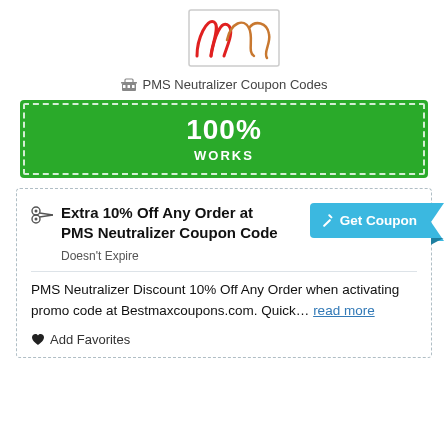[Figure (logo): PMS brand logo with stylized red cursive lettering on white background with a rectangular border outline]
PMS Neutralizer Coupon Codes
[Figure (infographic): Green banner with dashed white border showing '100% WORKS']
Extra 10% Off Any Order at PMS Neutralizer Coupon Code
Doesn't Expire
PMS Neutralizer Discount 10% Off Any Order when activating promo code at Bestmaxcoupons.com. Quick… read more
Add Favorites